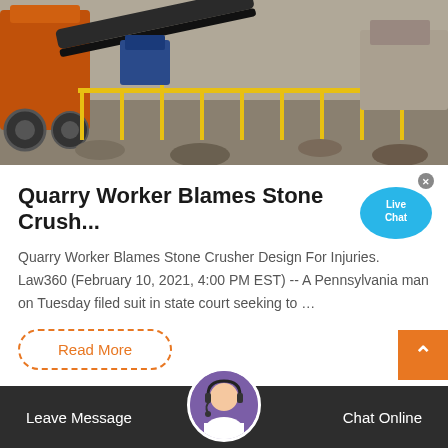[Figure (photo): Industrial quarry machinery — stone crusher equipment with orange/red components, conveyors, and yellow safety railings at a quarry site]
Quarry Worker Blames Stone Crush...
Quarry Worker Blames Stone Crusher Design For Injuries. Law360 (February 10, 2021, 4:00 PM EST) -- A Pennsylvania man on Tuesday filed suit in state court seeking to …
Read More
[Figure (illustration): Live Chat speech bubble icon in blue with text 'Live Chat']
Leave Message   Chat Online